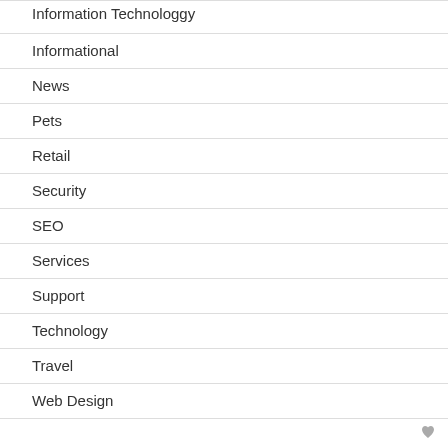Information Technologgy
Informational
News
Pets
Retail
Security
SEO
Services
Support
Technology
Travel
Web Design